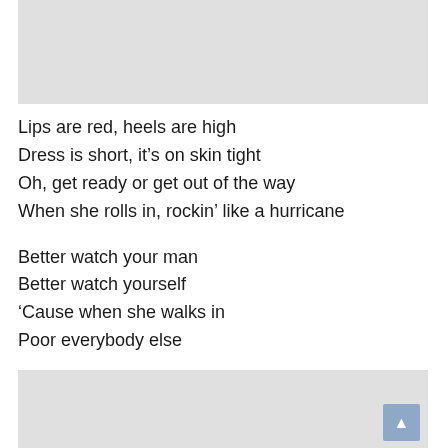[Figure (other): Top gray banner/placeholder image area]
Lips are red, heels are high
Dress is short, it’s on skin tight
Oh, get ready or get out of the way
When she rolls in, rockin’ like a hurricane
Better watch your man
Better watch yourself
‘Cause when she walks in
Poor everybody else
[Figure (other): Bottom gray banner/placeholder image area with scroll-to-top button]